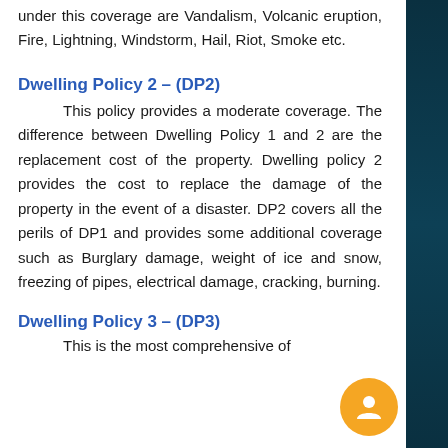under this coverage are Vandalism, Volcanic eruption, Fire, Lightning, Windstorm, Hail, Riot, Smoke etc.
Dwelling Policy 2 – (DP2)
This policy provides a moderate coverage. The difference between Dwelling Policy 1 and 2 are the replacement cost of the property. Dwelling policy 2 provides the cost to replace the damage of the property in the event of a disaster. DP2 covers all the perils of DP1 and provides some additional coverage such as Burglary damage, weight of ice and snow, freezing of pipes, electrical damage, cracking, burning.
Dwelling Policy 3 – (DP3)
This is the most comprehensive of